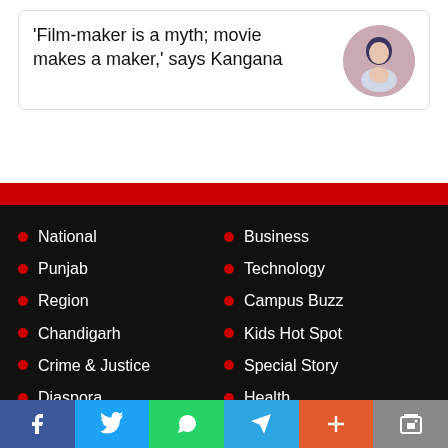'Film-maker is a myth; movie makes a maker,' says Kangana
National
Punjab
Region
Chandigarh
Crime & Justice
Diaspora
Business
Technology
Campus Buzz
Kids Hot Spot
Special Story
Health